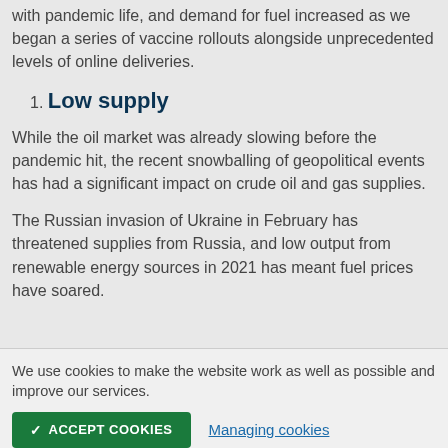with pandemic life, and demand for fuel increased as we began a series of vaccine rollouts alongside unprecedented levels of online deliveries.
1. Low supply
While the oil market was already slowing before the pandemic hit, the recent snowballing of geopolitical events has had a significant impact on crude oil and gas supplies.
The Russian invasion of Ukraine in February has threatened supplies from Russia, and low output from renewable energy sources in 2021 has meant fuel prices have soared.
We use cookies to make the website work as well as possible and improve our services.
✓ ACCEPT COOKIES   Managing cookies